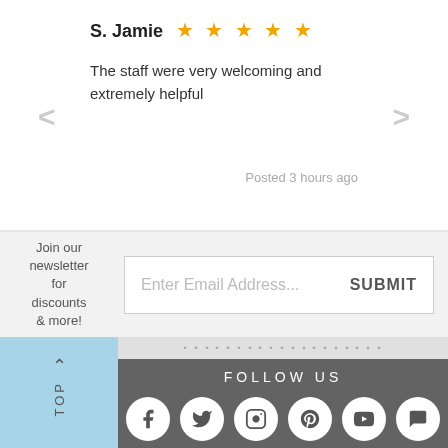S. Jamie ★★★★★
The staff were very welcoming and extremely helpful
Posted 3 hours ago
Join our newsletter for discounts & more!
Enter Email Address... SUBMIT
∧ TOP
FOLLOW US
[Figure (illustration): Social media icons: Facebook, Twitter, Instagram, Pinterest, YouTube, Chat]